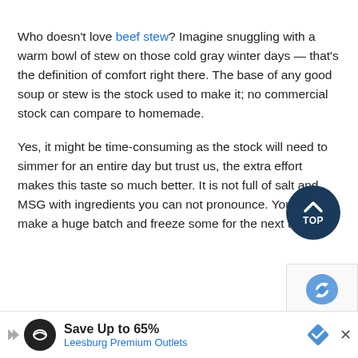Who doesn't love beef stew? Imagine snuggling with a warm bowl of stew on those cold gray winter days — that's the definition of comfort right there. The base of any good soup or stew is the stock used to make it; no commercial stock can compare to homemade.
Yes, it might be time-consuming as the stock will need to simmer for an entire day but trust us, the extra effort makes this taste so much better. It is not full of salt and MSG with ingredients you can not pronounce. You can make a huge batch and freeze some for the next time.
[Figure (other): Blue circular 'TOP' button with upward chevron arrow]
[Figure (other): reCAPTCHA logo partially visible]
Save Up to 65% Leesburg Premium Outlets